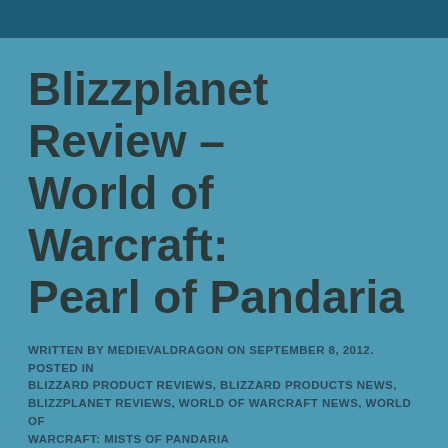Blizzplanet Review – World of Warcraft: Pearl of Pandaria
WRITTEN BY MEDIEVALDRAGON ON SEPTEMBER 8, 2012. POSTED IN BLIZZARD PRODUCT REVIEWS, BLIZZARD PRODUCTS NEWS, BLIZZPLANET REVIEWS, WORLD OF WARCRAFT NEWS, WORLD OF WARCRAFT: MISTS OF PANDARIA
[Figure (photo): Photo of Pearl of Pandaria comic book/graphic novel shown on a decorative surface next to a computer mouse]